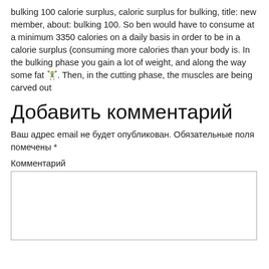bulking 100 calorie surplus, caloric surplus for bulking, title: new member, about: bulking 100. So ben would have to consume at a minimum 3350 calories on a daily basis in order to be in a calorie surplus (consuming more calories than your body is. In the bulking phase you gain a lot of weight, and along the way some fat 🏋️‍♂️. Then, in the cutting phase, the muscles are being carved out
Добавить комментарий
Ваш адрес email не будет опубликован. Обязательные поля помечены *
Комментарий